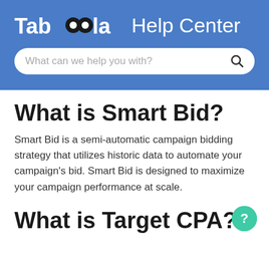Taboola Help Center
What is Smart Bid?
Smart Bid is a semi-automatic campaign bidding strategy that utilizes historic data to automate your campaign's bid. Smart Bid is designed to maximize your campaign performance at scale.
What is Target CPA?